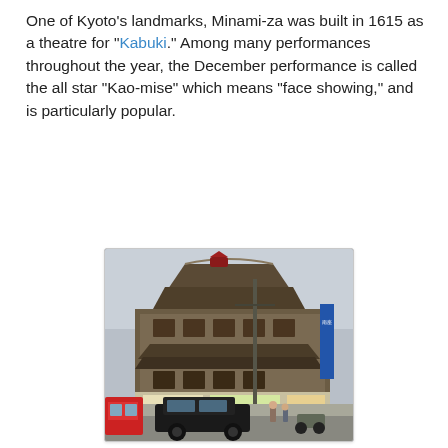One of Kyoto's landmarks, Minami-za was built in 1615 as a theatre for "Kabuki." Among many performances throughout the year, the December performance is called the all star "Kao-mise" which means "face showing," and is particularly popular.
[Figure (photo): Photograph of the Minami-za theatre building in Kyoto, a traditional multi-storey Japanese architecture structure with ornate curved rooflines. The street-level shows storefronts with Japanese signage, a black taxi car in the foreground, pedestrians, and a utility pole. The building has multiple tiers with decorative elements typical of historic Japanese theatre architecture.]